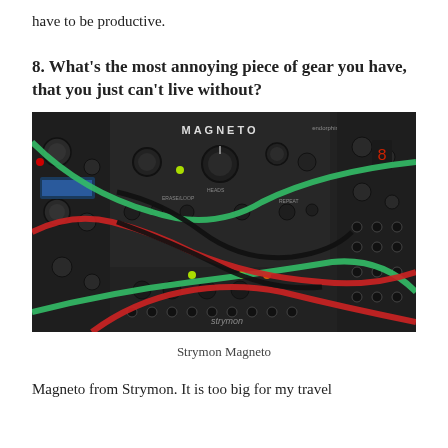have to be productive.
8. What's the most annoying piece of gear you have, that you just can't live without?
[Figure (photo): Close-up photograph of a Strymon Magneto Eurorack module in a modular synthesizer system with various colored patch cables (red, green, black) connected to it and surrounding modules by Endorphin.es.]
Strymon Magneto
Magneto from Strymon. It is too big for my travel